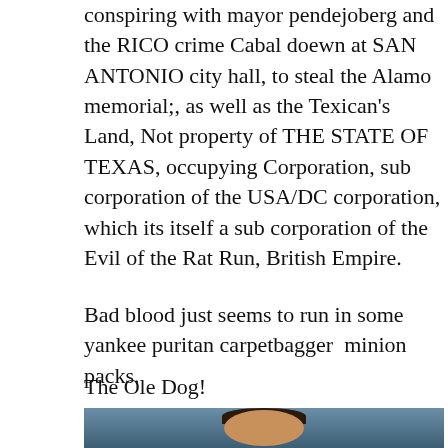conspiring with mayor pendejoberg and the RICO crime Cabal doewn at SAN ANTONIO city hall, to steal the Alamo memorial;, as well as the Texican's Land, Not property of THE STATE OF TEXAS, occupying Corporation, sub corporation of the USA/DC corporation, which its itself a sub corporation of the Evil of the Rat Run, British Empire.
Bad blood just seems to run in some yankee puritan carpetbagger  minion packs.
The Ole Dog!
[Figure (photo): Portrait photo of a man in a suit against a blue-grey background, partially visible at the bottom of the page]